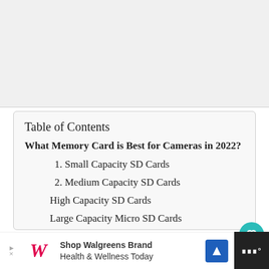[Figure (other): Gray placeholder/ad area at top of page]
Table of Contents
What Memory Card is Best for Cameras in 2022?
1. Small Capacity SD Cards
2. Medium Capacity SD Cards
High Capacity SD Cards
Large Capacity Micro SD Cards
Small Capacity Compact Flash Cards
Medium Capacity Compact Flash Cards
Large Capacity Compact Flash Cards
[Figure (other): Walgreens advertisement banner: Shop Walgreens Brand Health & Wellness Today]